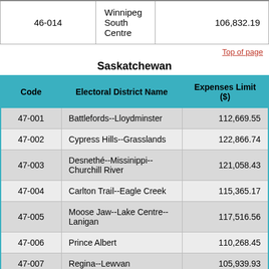| Code | Electoral District Name | Expenses Limit ($) |
| --- | --- | --- |
| 46-014 | Winnipeg South Centre | 106,832.19 |
Top of page
Saskatchewan
| Code | Electoral District Name | Expenses Limit ($) |
| --- | --- | --- |
| 47-001 | Battlefords--Lloydminster | 112,669.55 |
| 47-002 | Cypress Hills--Grasslands | 122,866.74 |
| 47-003 | Desnethé--Missinippi--Churchill River | 121,058.43 |
| 47-004 | Carlton Trail--Eagle Creek | 115,365.17 |
| 47-005 | Moose Jaw--Lake Centre--Lanigan | 117,516.56 |
| 47-006 | Prince Albert | 110,268.45 |
| 47-007 | Regina--Lewvan | 105,939.93 |